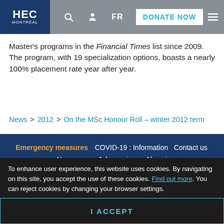HEC Montréal — Navigation header with logo, search, user, FR, DONATE NOW, and menu icons
Master's programs in the Financial Times list since 2009. The program, with 19 specialization options, boasts a nearly 100% placement rate year after year.
News > 2012 > On the MSc Honour Roll – winter 2012 term
Emergency measures  COVID-19 : Information  Contact us  News room  Job openings  Alumni  Follow HEC Montréal on social media
To enhance user experience, this website uses cookies. By navigating on this site, you accept the use of these cookies. Find out more. You can reject cookies by changing your browser settings.
I ACCEPT